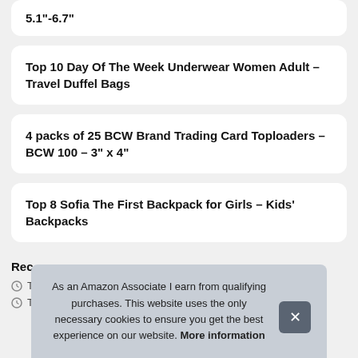5.1"-6.7"
Top 10 Day Of The Week Underwear Women Adult – Travel Duffel Bags
4 packs of 25 BCW Brand Trading Card Toploaders – BCW 100 – 3" x 4"
Top 8 Sofia The First Backpack for Girls – Kids' Backpacks
Rec
As an Amazon Associate I earn from qualifying purchases. This website uses the only necessary cookies to ensure you get the best experience on our website. More information